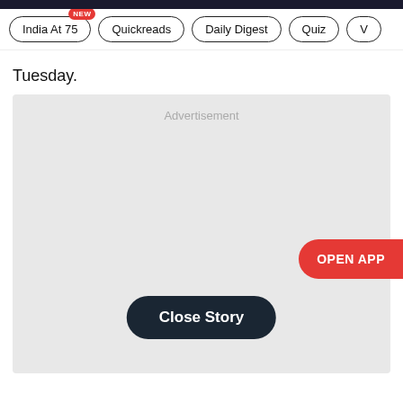India At 75 | Quickreads | Daily Digest | Quiz | V
Tuesday.
[Figure (other): Advertisement placeholder box with 'Advertisement' label, a 'Close Story' button, and an 'OPEN APP' button on the right side.]